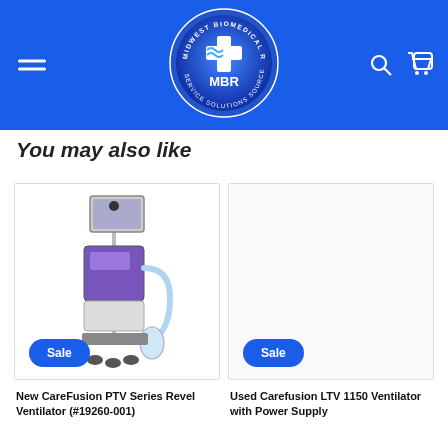[Figure (logo): Midwest Biomedical Resources MBR circular logo on blue header background with hamburger menu, search and cart icons]
You may also like
[Figure (photo): New CareFusion PTV Series Revel Ventilator medical device on wheeled stand with display screen and tubing, with Sale badge]
New CareFusion PTV Series Revel Ventilator (#19260-001)
[Figure (photo): Used Carefusion LTV 1150 Ventilator with Power Supply product card with Sale badge (image area appears blank/white)]
Used Carefusion LTV 1150 Ventilator with Power Supply